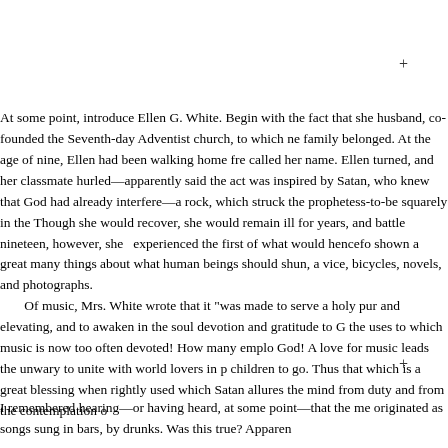At some point, introduce Ellen G. White. Begin with the fact that she husband, co-founded the Seventh-day Adventist church, to which ne family belonged. At the age of nine, Ellen had been walking home fre called her name. Ellen turned, and her classmate hurled—apparently said the act was inspired by Satan, who knew that God had already interfere—a rock, which struck the prophetess-to-be squarely in the Though she would recover, she would remain ill for years, and battle nineteen, however, she experienced the first of what would hencefo shown a great many things about what human beings should shun, a vice, bicycles, novels, and photographs.
Of music, Mrs. White wrote that it "was made to serve a holy pur and elevating, and to awaken in the soul devotion and gratitude to G the uses to which music is now too often devoted! How many emplo God! A love for music leads the unwary to unite with world lovers in p children to go. Thus that which is a great blessing when rightly used which Satan allures the mind from duty and from the contemplation o
I remembered hearing—or having heard, at some point—that the me originated as songs sung in bars, by drunks. Was this true? Apparen